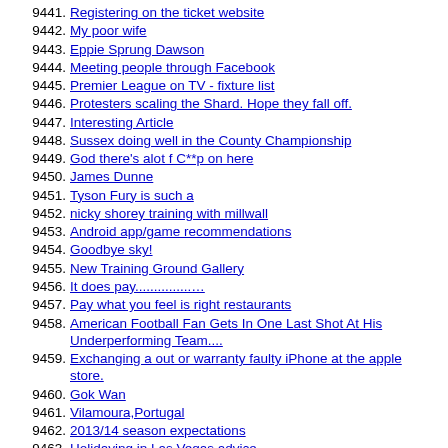9441. Registering on the ticket website
9442. My poor wife
9443. Eppie Sprung Dawson
9444. Meeting people through Facebook
9445. Premier League on TV - fixture list
9446. Protesters scaling the Shard. Hope they fall off.
9447. Interesting Article
9448. Sussex doing well in the County Championship
9449. God there's alot f C**p on here
9450. James Dunne
9451. Tyson Fury is such a
9452. nicky shorey training with millwall
9453. Android app/game recommendations
9454. Goodbye sky!
9455. New Training Ground Gallery
9456. It does pay...............
9457. Pay what you feel is right restaurants
9458. American Football Fan Gets In One Last Shot At His Underperforming Team....
9459. Exchanging a out or warranty faulty iPhone at the apple store.
9460. Gok Wan
9461. Vilamoura,Portugal
9462. 2013/14 season expectations
9463. Holidaying in Las Vegas advice
9464. Eating on a budget
9465. Over thirties-ish players wanted for Sunday footy at Hove Park - ALL abilities welcome.
9466. Is Desert Bus the worst videogame of all time?
9467. Any kite surfers on here?